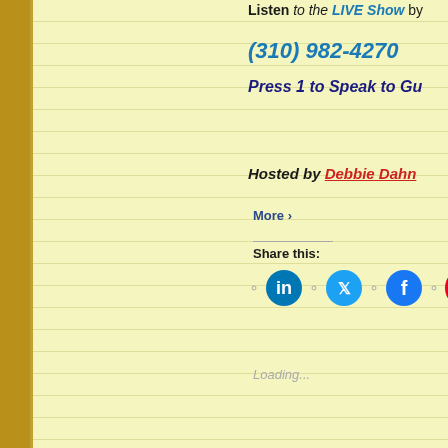Listen to the LIVE Show by (310) 982-4270 Press 1 to Speak to Gu
Hosted by Debbie Dahn
More ›
Share this:
[Figure (infographic): Social sharing icons: LinkedIn (blue circle), Twitter (blue circle), Facebook (blue circle), Pinterest (red circle with 21 count badge), More button]
Loading...
TS Radio Network: What Now? G With Marcia Southwick
March 17, 2021
ppjg abolishing probate, civil tribunals, Corrupt cour families, judicial corruption, Marti Oakley, The PR1 Const